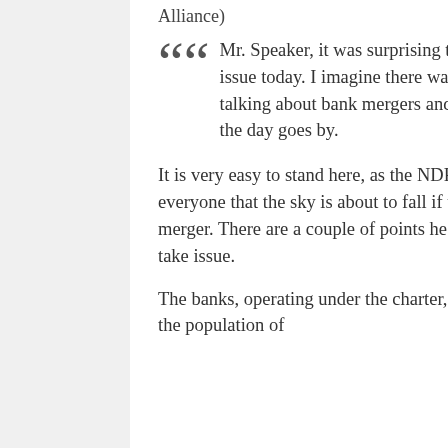Alliance)
Mr. Speaker, it was surprising to have the NDP put forth this issue today. I imagine there was more than one reason to start talking about bank mergers and I guess we will find that out as the day goes by.
It is very easy to stand here, as the NDP does in so many cases, and tell everyone that the sky is about to fall if those big, bad banks have a merger. There are a couple of points he made with which I really must take issue.
The banks, operating under the charter, of course have an obligation to the population of